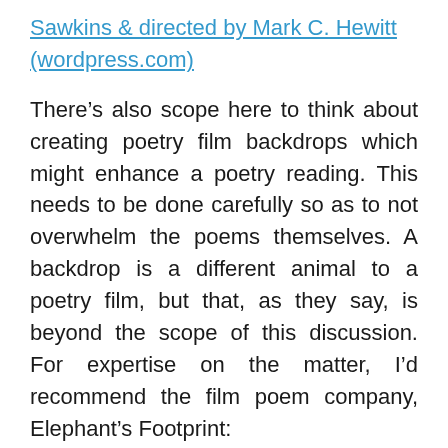Sawkins & directed by Mark C. Hewitt (wordpress.com)
There’s also scope here to think about creating poetry film backdrops which might enhance a poetry reading. This needs to be done carefully so as to not overwhelm the poems themselves. A backdrop is a different animal to a poetry film, but that, as they say, is beyond the scope of this discussion. For expertise on the matter, I’d recommend the film poem company, Elephant’s Footprint:
Elephant's Footprint Film Verse – Film Poetry by Chaucer Cameron & Helen Dewbery
This learning style theory also relates to the poems themselves. I now realise my poems usually have a lot of movement in them. In ‘Beautiful Nowhere’, for example,